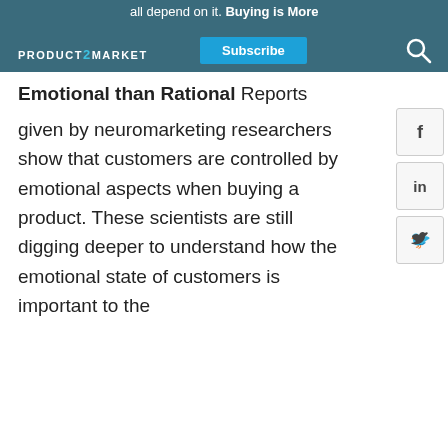PRODUCT2MARKET — Subscribe
all depend on it. Buying is More Emotional than Rational Reports given by neuromarketing researchers show that customers are controlled by emotional aspects when buying a product. These scientists are still digging deeper to understand how the emotional state of customers is important to the business…